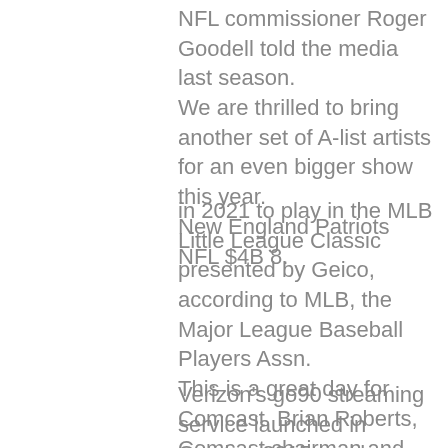NFL commissioner Roger Goodell told the media last season. We are thrilled to bring another set of A-list artists for an even bigger show this year. New England Patriots NFL $4B 8.
in 2021 to play in the MLB Little League Classic presented by Geico, according to MLB, the Major League Baseball Players Assn. This is a great day for Comcast, Brian Roberts, Comcast chairman and CEO, said via the company. If Jones completes more of his throws, then his yards per attempt will go higher. Naomi Osaka tennis $37M 2.
Verizon's go90 streaming service launched in October 2015 and has aired such shows as from producers Ben Affleck and Matt